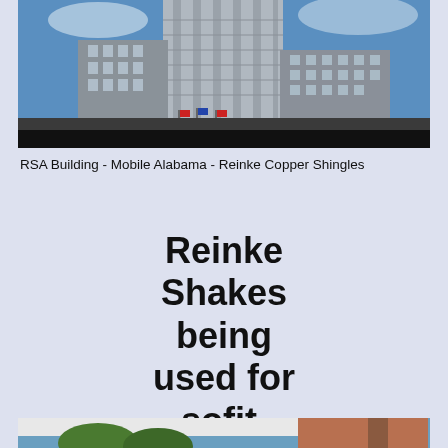[Figure (photo): RSA Building in Mobile Alabama with Reinke Copper Shingles, a tall modern glass and concrete skyscraper with flags at its base]
RSA Building - Mobile Alabama - Reinke Copper Shingles
Reinke Shakes being used for sofit.
[Figure (photo): Close-up of a building eave/soffit area showing Reinke Shakes installed as soffit material, with brick exterior and trees in background]